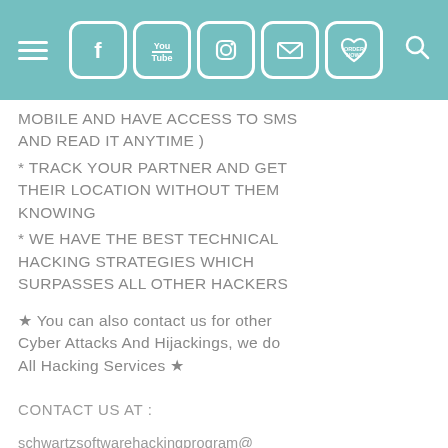[Navigation bar with hamburger menu, social icons (Facebook, YouTube, Instagram, Email, Order Now heart), and search icon]
MOBILE AND HAVE ACCESS TO SMS AND READ IT ANYTIME )
* TRACK YOUR PARTNER AND GET THEIR LOCATION WITHOUT THEM KNOWING
* WE HAVE THE BEST TECHNICAL HACKING STRATEGIES WHICH SURPASSES ALL OTHER HACKERS
★ You can also contact us for other Cyber Attacks And Hijackings, we do All Hacking Services ★
CONTACT US AT :
schwartzsoftwarehackingprogram@gmail.com  +1 704-313-9661